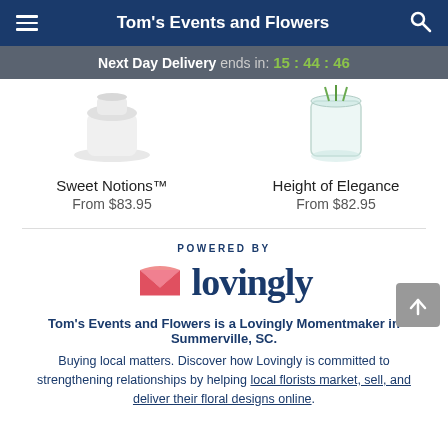Tom's Events and Flowers
Next Day Delivery ends in: 15:44:46
[Figure (photo): Product image of Sweet Notions floral arrangement in white vase]
Sweet Notions™
From $83.95
[Figure (photo): Product image of Height of Elegance floral arrangement in glass vase]
Height of Elegance
From $82.95
[Figure (logo): Lovingly logo with pink heart/envelope icon and navy text]
POWERED BY
Tom's Events and Flowers is a Lovingly Momentmaker in Summerville, SC.
Buying local matters. Discover how Lovingly is committed to strengthening relationships by helping local florists market, sell, and deliver their floral designs online.